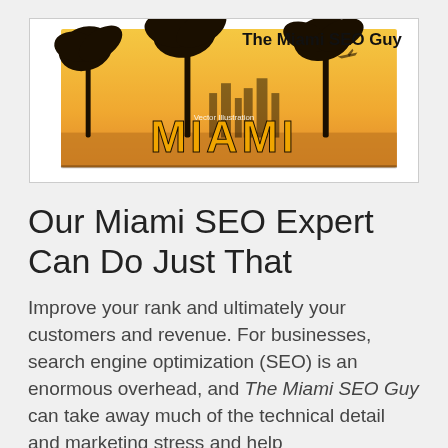[Figure (logo): The Miami SEO Guy logo with palm trees silhouette, orange/golden Miami cityscape illustration and the text 'The Miami SEO Guy' in the top right and 'MIAMI' in large golden letters at center.]
Our Miami SEO Expert Can Do Just That
Improve your rank and ultimately your customers and revenue. For businesses, search engine optimization (SEO) is an enormous overhead, and The Miami SEO Guy can take away much of the technical detail and marketing stress and help